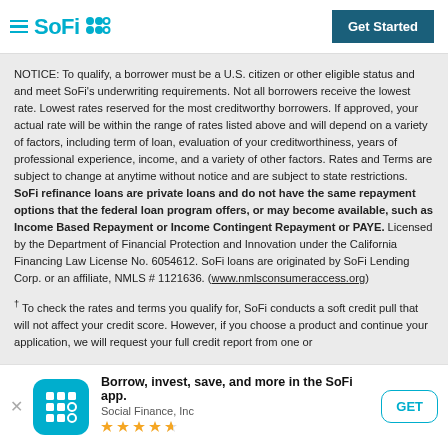SoFi — Get Started
NOTICE: To qualify, a borrower must be a U.S. citizen or other eligible status and and meet SoFi's underwriting requirements. Not all borrowers receive the lowest rate. Lowest rates reserved for the most creditworthy borrowers. If approved, your actual rate will be within the range of rates listed above and will depend on a variety of factors, including term of loan, evaluation of your creditworthiness, years of professional experience, income, and a variety of other factors. Rates and Terms are subject to change at anytime without notice and are subject to state restrictions. SoFi refinance loans are private loans and do not have the same repayment options that the federal loan program offers, or may become available, such as Income Based Repayment or Income Contingent Repayment or PAYE. Licensed by the Department of Financial Protection and Innovation under the California Financing Law License No. 6054612. SoFi loans are originated by SoFi Lending Corp. or an affiliate, NMLS # 1121636. (www.nmlsconsumeraccess.org)
† To check the rates and terms you qualify for, SoFi conducts a soft credit pull that will not affect your credit score. However, if you choose a product and continue your application, we will request your full credit report from one or
Borrow, invest, save, and more in the SoFi app. Social Finance, Inc ★★★★½